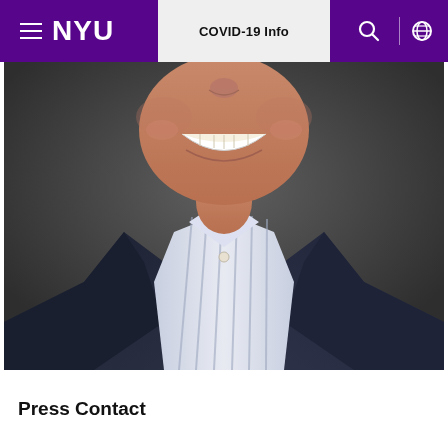NYU | COVID-19 Info
[Figure (photo): Headshot of a smiling middle-aged man wearing a dark navy blazer over a blue and white striped collared shirt, photographed against a dark grey background. Only the lower face, neck, and torso are visible.]
Press Contact